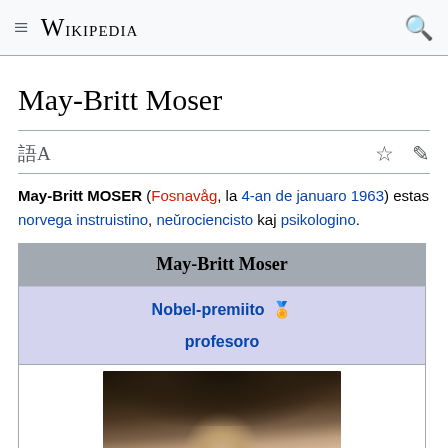≡ Wikipedia 🔍
May-Britt Moser
May-Britt MOSER (Fosnavåg, la 4-an de januaro 1963) estas norvega instruistino, neŭrociencisto kaj psikologino.
| May-Britt Moser |
| --- |
| Nobel-premiito 🏅 |
| profesoro |
| [photo] |